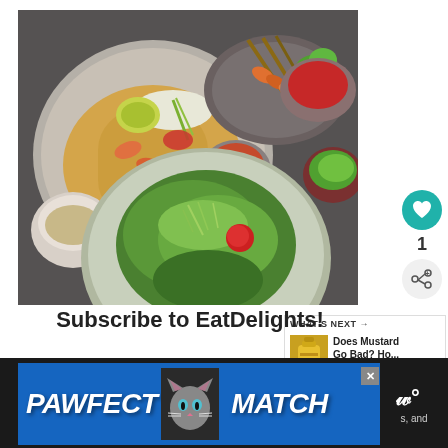[Figure (photo): Overhead shot of multiple bowls of Asian food including pad thai with shrimp, bean sprouts and lime, grilled shrimp skewers with red sauce, fresh herbs, and a salad bowl with greens, shrimp and tomatoes, all on a dark grey surface]
[Figure (infographic): Teal circular heart/like button and a grey circular share button with +, showing count of 1]
[Figure (infographic): What's Next panel with thumbnail and text: Does Mustard Go Bad? Ho...]
Subscribe to EatDelights!
[Figure (screenshot): Advertisement banner: PAWFECT MATCH with cat image, on blue background, with close X button. Right side shows partial text including 'and' and degree symbol icon on dark background]